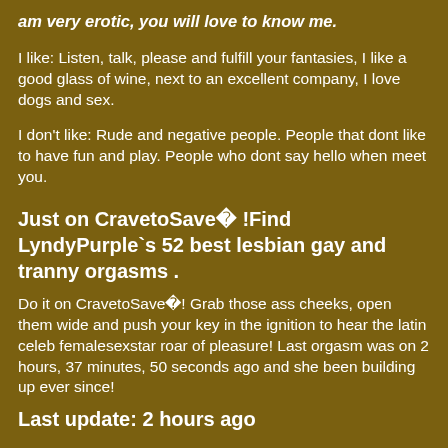am very erotic, you will love to know me.
I like: Listen, talk, please and fulfill your fantasies, I like a good glass of wine, next to an excellent company, I love dogs and sex.
I don't like: Rude and negative people. People that dont like to have fun and play. People who dont say hello when meet you.
Just on CravetoSave� !Find LyndyPurple`s 52 best lesbian gay and tranny orgasms .
Do it on CravetoSave�! Grab those ass cheeks, open them wide and push your key in the ignition to hear the latin celeb femalesexstar roar of pleasure! Last orgasm was on 2 hours, 37 minutes, 50 seconds ago and she been building up ever since!
Last update: 2 hours ago